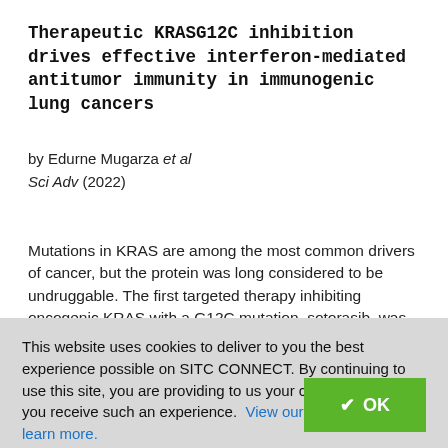Therapeutic KRASG12C inhibition drives effective interferon-mediated antitumor immunity in immunogenic lung cancers
by Edurne Mugarza et al
Sci Adv (2022)
Mutations in KRAS are among the most common drivers of cancer, but the protein was long considered to be undruggable. The first targeted therapy inhibiting oncogenic KRAS with a G12C mutation, sotorasib, was
This website uses cookies to deliver to you the best experience possible on SITC CONNECT. By continuing to use this site, you are providing to us your consent to ensure you receive such an experience.  View our privacy policy to learn more.